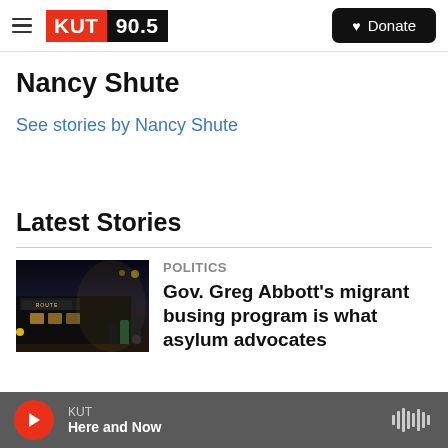KUT 90.5 — Donate
Nancy Shute
See stories by Nancy Shute
Latest Stories
[Figure (photo): Night scene with a bus and people standing outside, dimly lit street]
Politics
Gov. Greg Abbott's migrant busing program is what asylum advocates
KUT — Here and Now